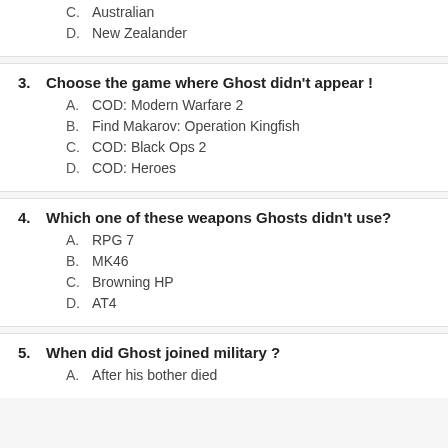C. Australian
D. New Zealander
3. Choose the game where Ghost didn't appear !
A. COD: Modern Warfare 2
B. Find Makarov: Operation Kingfish
C. COD: Black Ops 2
D. COD: Heroes
4. Which one of these weapons Ghosts didn't use?
A. RPG 7
B. MK46
C. Browning HP
D. AT4
5. When did Ghost joined military ?
A. After his bother died